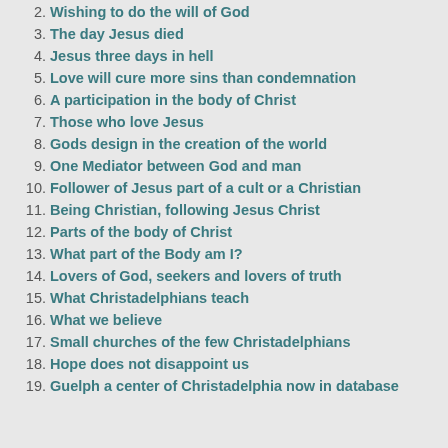2. Wishing to do the will of God
3. The day Jesus died
4. Jesus three days in hell
5. Love will cure more sins than condemnation
6. A participation in the body of Christ
7. Those who love Jesus
8. Gods design in the creation of the world
9. One Mediator between God and man
10. Follower of Jesus part of a cult or a Christian
11. Being Christian, following Jesus Christ
12. Parts of the body of Christ
13. What part of the Body am I?
14. Lovers of God, seekers and lovers of truth
15. What Christadelphians teach
16. What we believe
17. Small churches of the few Christadelphians
18. Hope does not disappoint us
19. Guelph a center of Christadelphia now in database